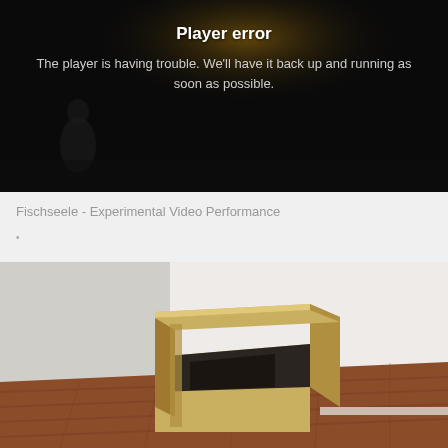[Figure (screenshot): Video player showing a player error message on a dark background with a blurred figure visible. Text reads 'Player error' and 'The player is having trouble. We'll have it back up and running as soon as possible.']
Fischseele - Experimental Video Performance
•
[Figure (photo): Photograph of a wooden box/cabinet installation in a white-walled room with wooden floorboards. The box structure appears to be an art installation with an open top and dark interior.]